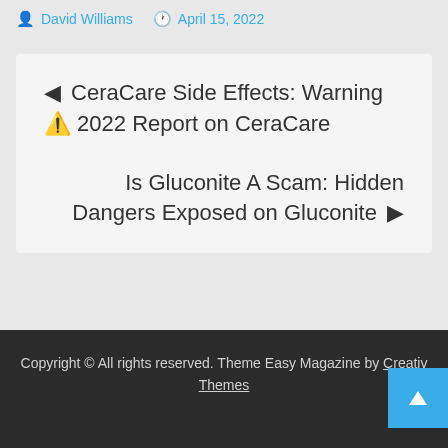David Williams   April 15, 2022
◄ CeraCare Side Effects: Warning ⚠ 2022 Report on CeraCare
Is Gluconite A Scam: Hidden Dangers Exposed on Gluconite ►
Copyright © All rights reserved. Theme Easy Magazine by Creativ Themes